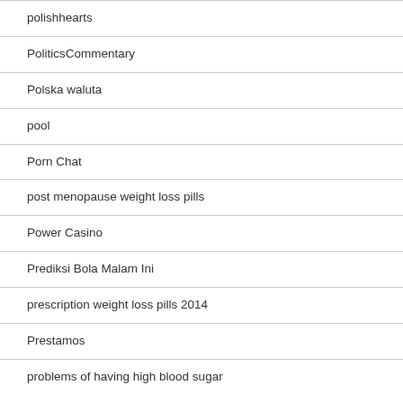polishhearts
PoliticsCommentary
Polska waluta
pool
Porn Chat
post menopause weight loss pills
Power Casino
Prediksi Bola Malam Ini
prescription weight loss pills 2014
Prestamos
problems of having high blood sugar